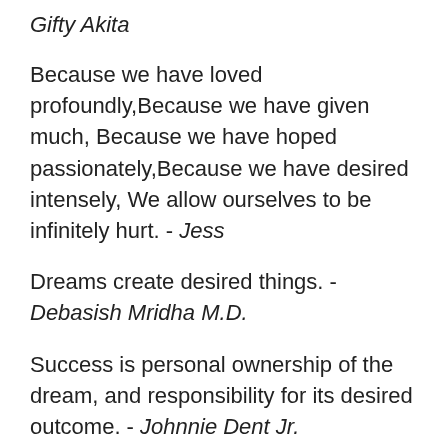Gifty Akita
Because we have loved profoundly,Because we have given much, Because we have hoped passionately,Because we have desired intensely, We allow ourselves to be infinitely hurt. - Jess
Dreams create desired things. - Debasish Mridha M.D.
Success is personal ownership of the dream, and responsibility for its desired outcome. - Johnnie Dent Jr.
The ultimate good desired is better reached